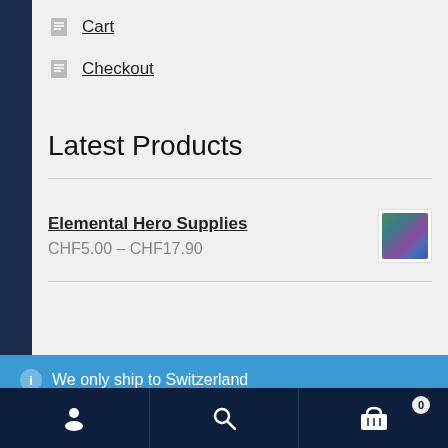Cart
Checkout
Latest Products
Elemental Hero Supplies CHF5.00 – CHF17.90
ⓘ We only ship to Switzerland
Dismiss